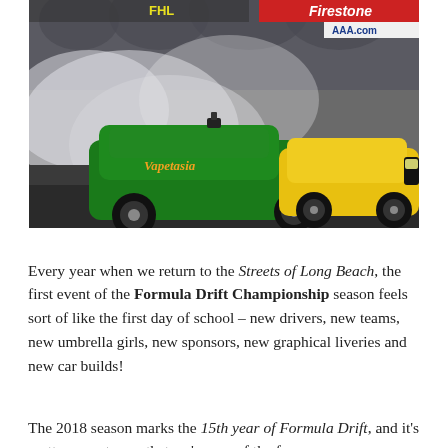[Figure (photo): Two drift cars racing on a circuit with heavy tire smoke. A green car branded 'Vapetasia' leads, followed by a yellow car. Firestone and AAA.com advertising banners visible in background.]
Every year when we return to the Streets of Long Beach, the first event of the Formula Drift Championship season feels sort of like the first day of school – new drivers, new teams, new umbrella girls, new sponsors, new graphical liveries and new car builds!
The 2018 season marks the 15th year of Formula Drift, and it's pretty crazy to say that we're one of the few